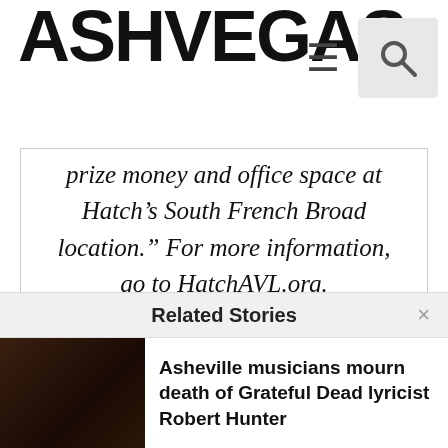ASHVEGAS
prize money and office space at Hatch’s South French Broad location.” For more information, go to HatchAVL.org.
-New Belgium Brewing has earned a trifecta of LEED® certifications on all three of their Asheville facilities: Liquid Center tasting room
Related Stories
Asheville musicians mourn death of Grateful Dead lyricist Robert Hunter